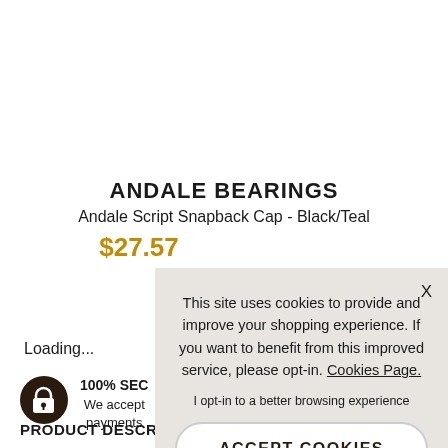ANDALE BEARINGS
Andale Script Snapback Cap - Black/Teal
$27.57
Loading...
100% SEC
We accept payments
PRODUCT DESCRIP
This site uses cookies to provide and improve your shopping experience. If you want to benefit from this improved service, please opt-in. Cookies Page.
I opt-in to a better browsing experience
ACCEPT COOKIES